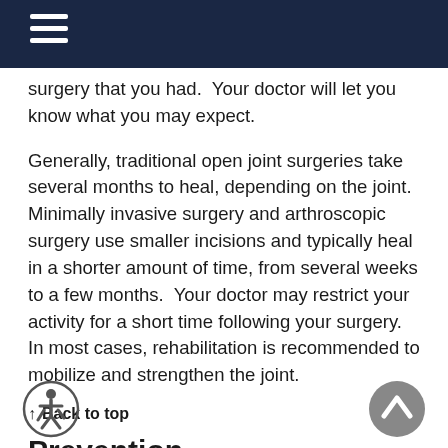surgery that you had.  Your doctor will let you know what you may expect.
Generally, traditional open joint surgeries take several months to heal, depending on the joint.  Minimally invasive surgery and arthroscopic surgery use smaller incisions and typically heal in a shorter amount of time, from several weeks to a few months.  Your doctor may restrict your activity for a short time following your surgery.  In most cases, rehabilitation is recommended to mobilize and strengthen the joint.
↑ Back to top
Prevention
e types of arthritis and arthritis symptoms may e prevented.  It is important to know what type of